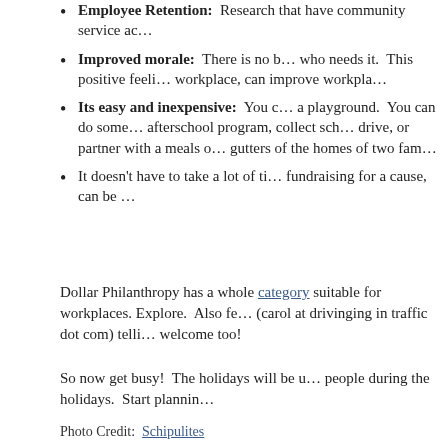Employee Retention: Research that have community service ac…
Improved morale: There is no b… who needs it. This positive feeli… workplace, can improve workpla…
Its easy and inexpensive: You c… a playground. You can do some… afterschool program, collect sch… drive, or partner with a meals o… gutters of the homes of two fam…
It doesn't have to take a lot of ti… fundraising for a cause, can be …
Dollar Philanthropy has a whole category suitable for workplaces. Explore. Also fe… (carol at drivinging in traffic dot com) telli… welcome too!
So now get busy! The holidays will be u… people during the holidays. Start plannin…
Photo Credit: Schipulites